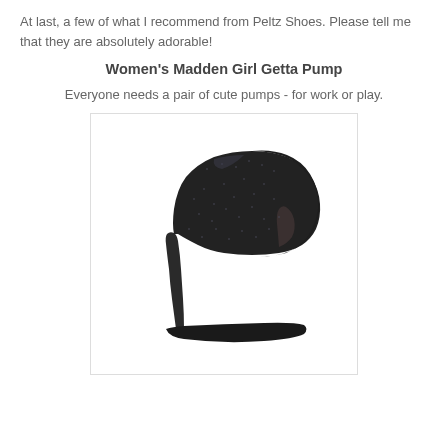At last, a few of what I recommend from Peltz Shoes. Please tell me that they are absolutely adorable!
Women's Madden Girl Getta Pump
Everyone needs a pair of cute pumps - for work or play.
[Figure (photo): A black glittery high-heel pump shoe (Women's Madden Girl Getta Pump) displayed on a white background inside a light gray bordered box.]